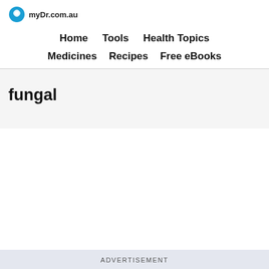myDr.com.au
Home    Tools    Health Topics
Medicines    Recipes    Free eBooks
fungal
ADVERTISEMENT